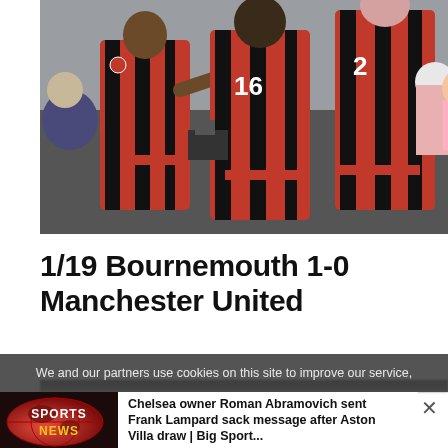[Figure (photo): Bournemouth football players in red and black striped kits celebrating on the pitch, with crowd and cameraman visible in the background]
1/19 Bournemouth 1-0 Manchester United
[Figure (screenshot): Dark blurred image below the headline, partially obscured by cookie consent bar]
We and our partners use cookies on this site to improve our service,
[Figure (screenshot): Sports News logo thumbnail in red with globe graphic]
Chelsea owner Roman Abramovich sent Frank Lampard sack message after Aston Villa draw | Big Sport...